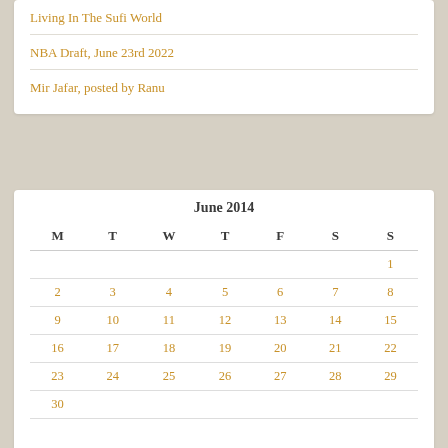Living In The Sufi World
NBA Draft, June 23rd 2022
Mir Jafar, posted by Ranu
| M | T | W | T | F | S | S |
| --- | --- | --- | --- | --- | --- | --- |
|  |  |  |  |  |  | 1 |
| 2 | 3 | 4 | 5 | 6 | 7 | 8 |
| 9 | 10 | 11 | 12 | 13 | 14 | 15 |
| 16 | 17 | 18 | 19 | 20 | 21 | 22 |
| 23 | 24 | 25 | 26 | 27 | 28 | 29 |
| 30 |  |  |  |  |  |  |
« May   Jul »